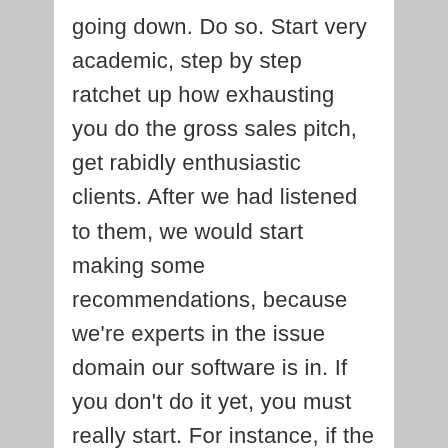going down. Do so. Start very academic, step by step ratchet up how exhausting you do the gross sales pitch, get rabidly enthusiastic clients. After we had listened to them, we would start making some recommendations, because we're experts in the issue domain our software is in. If you don't do it yet, you must really start. For instance, if the supply is obtainable on your pricing web page to anyone, then there is no reason for anyone to sign up for it right this moment as opposed to any time over the subsequent 12 months.
Something less apparent: provide clients the chance to pay in advance, which will get you